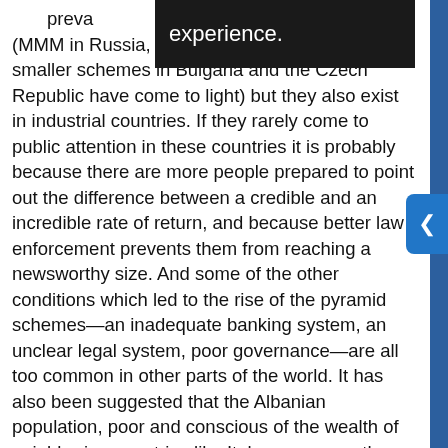experience. prevalence (MMM in Russia, Caritas in Romania, and smaller schemes in Bulgaria and the Czech Republic have come to light) but they also exist in industrial countries. If they rarely come to public attention in these countries it is probably because there are more people prepared to point out the difference between a credible and an incredible rate of return, and because better law enforcement prevents them from reaching a newsworthy size. And some of the other conditions which led to the rise of the pyramid schemes—an inadequate banking system, an unclear legal system, poor governance—are all too common in other parts of the world. It has also been suggested that the Albanian population, poor and conscious of the wealth of neighboring countries like Italy, were more than usually susceptible to the promises of the pyramid scheme operators. Again, there may be a little truth in this, but it is worth remembering that most of the British aristocracy, including the then Master of the Royal Mint, Sir Isaac Newton, fell for the South Sea Bubble, and that in 1917, just before Ponzi started his